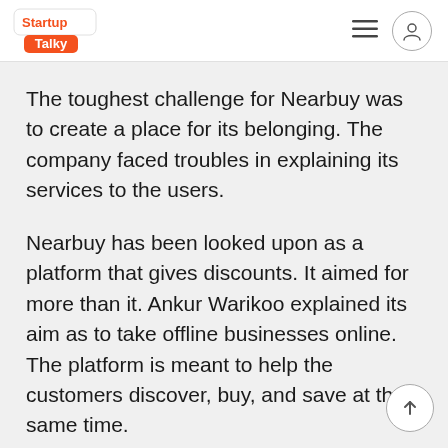StartupTalky
The toughest challenge for Nearbuy was to create a place for its belonging. The company faced troubles in explaining its services to the users.
Nearbuy has been looked upon as a platform that gives discounts. It aimed for more than it. Ankur Warikoo explained its aim as to take offline businesses online. The platform is meant to help the customers discover, buy, and save at the same time.